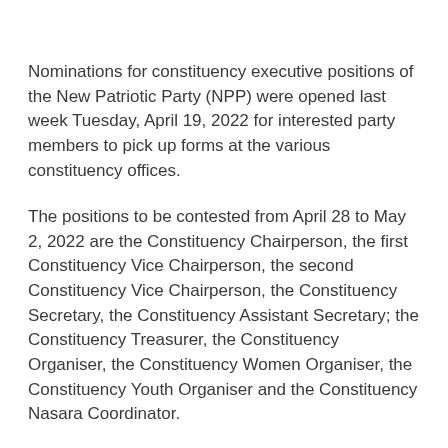Nominations for constituency executive positions of the New Patriotic Party (NPP) were opened last week Tuesday, April 19, 2022 for interested party members to pick up forms at the various constituency offices.
The positions to be contested from April 28 to May 2, 2022 are the Constituency Chairperson, the first Constituency Vice Chairperson, the second Constituency Vice Chairperson, the Constituency Secretary, the Constituency Assistant Secretary; the Constituency Treasurer, the Constituency Organiser, the Constituency Women Organiser, the Constituency Youth Organiser and the Constituency Nasara Coordinator.
Pursuant to Section 17 (2) of the Political Parties Act...